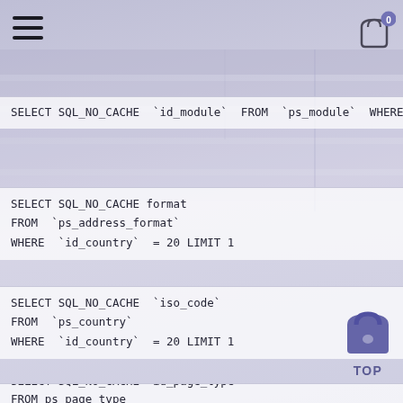[Figure (screenshot): Navigation bar with hamburger menu icon on left and shopping cart icon with badge '0' on right]
SELECT SQL_NO_CACHE `id_module` FROM `ps_module` WHERE
SELECT SQL_NO_CACHE format
FROM `ps_address_format`
WHERE `id_country` = 20 LIMIT 1
SELECT SQL_NO_CACHE `iso_code`
FROM `ps_country`
WHERE `id_country` = 20 LIMIT 1
SELECT SQL_NO_CACHE `id_module` FROM `ps_module` WHERE
SELECT SQL_NO_CACHE id_page_type
FROM ps_page_type
WHERE name = 'cms' LIMIT 1
SELECT SQL_NO_CACHE `id_country`